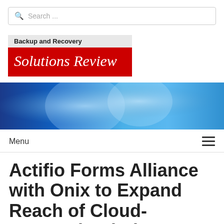Search ...
[Figure (logo): Backup and Recovery Solutions Review logo — grey banner on top with 'Backup and Recovery' text, red banner below with 'Solutions Review' in white serif italic font]
[Figure (photo): Blue abstract banner image with light reflections]
Menu
Actifio Forms Alliance with Onix to Expand Reach of Cloud-Focused Solutions